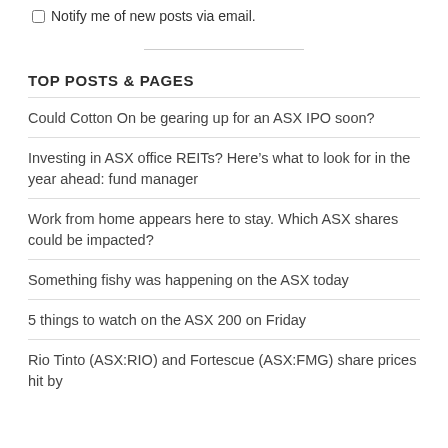Notify me of new posts via email.
TOP POSTS & PAGES
Could Cotton On be gearing up for an ASX IPO soon?
Investing in ASX office REITs? Here’s what to look for in the year ahead: fund manager
Work from home appears here to stay. Which ASX shares could be impacted?
Something fishy was happening on the ASX today
5 things to watch on the ASX 200 on Friday
Rio Tinto (ASX:RIO) and Fortescue (ASX:FMG) share prices hit by